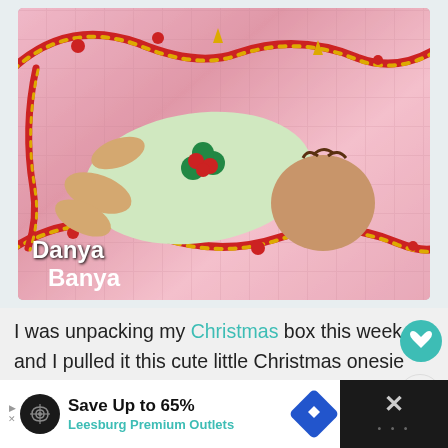[Figure (photo): A baby wearing a white Christmas onesie with holly design, lying face down on a pink quilted blanket surrounded by red and gold tinsel garland. Text overlay 'Danya Banya' in bottom left corner.]
I was unpacking my Christmas box this week, and I pulled it this cute little Christmas onesie that I made for Bee when she was a baby, and fell in love with it all over again.
Save Up to 65% Leesburg Premium Outlets